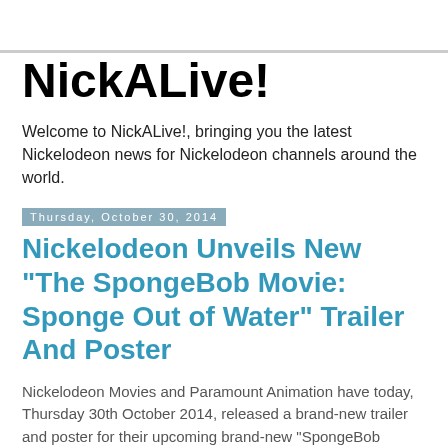NickALive!
Welcome to NickALive!, bringing you the latest Nickelodeon news for Nickelodeon channels around the world.
Thursday, October 30, 2014
Nickelodeon Unveils New "The SpongeBob Movie: Sponge Out of Water" Trailer And Poster
Nickelodeon Movies and Paramount Animation have today, Thursday 30th October 2014, released a brand-new trailer and poster for their upcoming brand-new "SpongeBob SquarePants" movie, "The SpongeBob Movie: Sponge Out of Water", which you can check out below!
Nick and Paramount's second new "The SpongeBob Movie: Sponge Out of Water" trailer takes a closer look at the